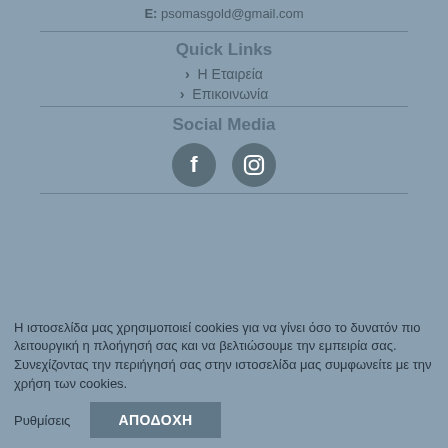E: psomasgold@gmail.com
Quick Links
› Η Εταιρεία
› Επικοινωνία
Social Media
[Figure (illustration): Facebook and Instagram social media icons (circular dark grey icons)]
Η ιστοσελίδα μας χρησιμοποιεί cookies για να γίνει όσο το δυνατόν πιο λειτουργική η πλοήγησή σας και να βελτιώσουμε την εμπειρία σας. Συνεχίζοντας την περιήγησή σας στην ιστοσελίδα μας συμφωνείτε με την χρήση των cookies.
Ρυθμίσεις  ΑΠΟΔΟΧΗ